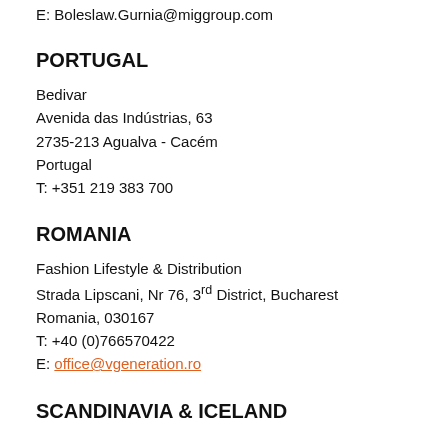E: Boleslaw.Gurnia@miggroup.com
PORTUGAL
Bedivar
Avenida das Indústrias, 63
2735-213 Agualva - Cacém
Portugal
T: +351 219 383 700
ROMANIA
Fashion Lifestyle & Distribution
Strada Lipscani, Nr 76, 3rd District, Bucharest
Romania, 030167
T: +40 (0)766570422
E: office@vgeneration.ro
SCANDINAVIA & ICELAND